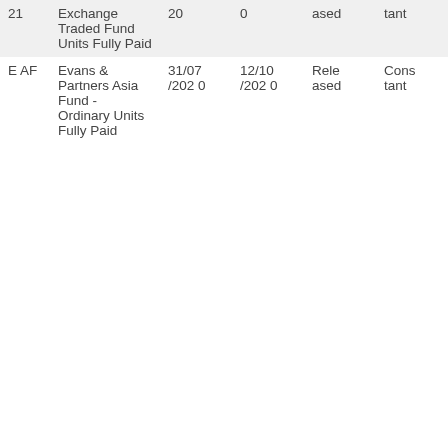| 21 | Exchange Traded Fund Units Fully Paid | 20 | 0 | ased | tant |
| E AF | Evans & Partners Asia Fund - Ordinary Units Fully Paid | 31/07/2020 | 12/10/2020 | Released | Constant |